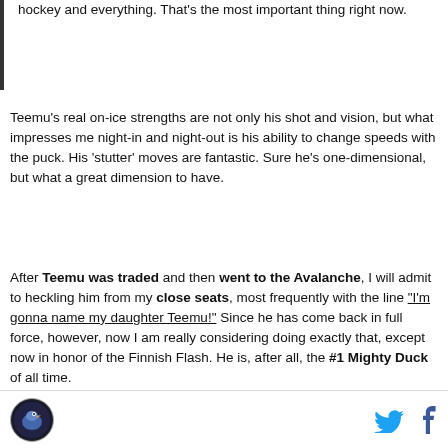hockey and everything. That's the most important thing right now.
Teemu's real on-ice strengths are not only his shot and vision, but what impresses me night-in and night-out is his ability to change speeds with the puck. His 'stutter' moves are fantastic. Sure he's one-dimensional, but what a great dimension to have.
After Teemu was traded and then went to the Avalanche, I will admit to heckling him from my close seats, most frequently with the line "I'm gonna name my daughter Teemu!" Since he has come back in full force, however, now I am really considering doing exactly that, except now in honor of the Finnish Flash. He is, after all, the #1 Mighty Duck of all time.